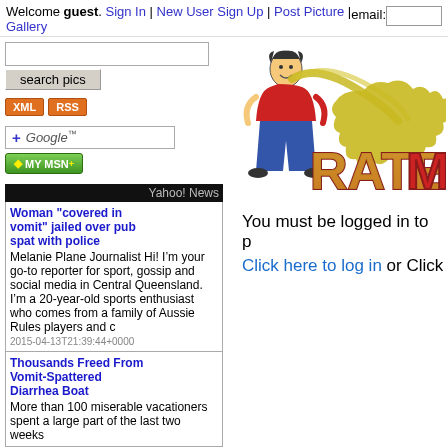Welcome guest. Sign In | New User Sign Up | Post Picture | Gallery    email:
[Figure (screenshot): Search input box and search pics button]
[Figure (logo): XML and RSS orange feed buttons]
[Figure (logo): Add to Google button]
[Figure (logo): MY MSN+ green button]
[Figure (illustration): Rate My Vomit website logo with cartoon figure vomiting and stylized text RATE MY V...]
You must be logged in to p...
Click here to log in or Click...
Yahoo! News
Woman "covered in vomit" jailed over pub spat with police
Melanie Plane Journalist Hi! I’m your go-to reporter for sport, gossip and social media in Central Queensland. I’m a 20-year-old sports enthusiast who comes from a family of Aussie Rules players and c
2015-04-13T21:39:44+0000
Thousands Freed From Vomit-Spattered Diarrhea Boat
More than 100 miserable vacationers spent a large part of the last two weeks